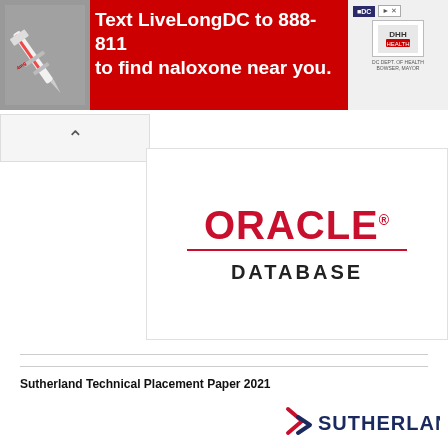[Figure (infographic): Red advertisement banner: Text LiveLongDC to 888-811 to find naloxone near you. Shows syringe photo on left, DC health logos on right.]
[Figure (logo): Oracle Database logo in red and black]
Sutherland Technical Placement Paper 2021
[Figure (logo): Sutherland logo with red/blue chevron icon]
Sutherland Aptitude Placement Paper 2021
[Figure (logo): Sutherland logo with red/blue chevron icon]